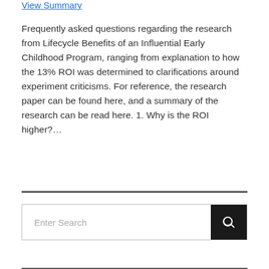View Summary
Frequently asked questions regarding the research from Lifecycle Benefits of an Influential Early Childhood Program, ranging from explanation to how the 13% ROI was determined to clarifications around experiment criticisms. For reference, the research paper can be found here, and a summary of the research can be read here. 1. Why is the ROI higher?…
[Figure (other): Search input box with 'Enter Search' placeholder and a black search button with magnifying glass icon]